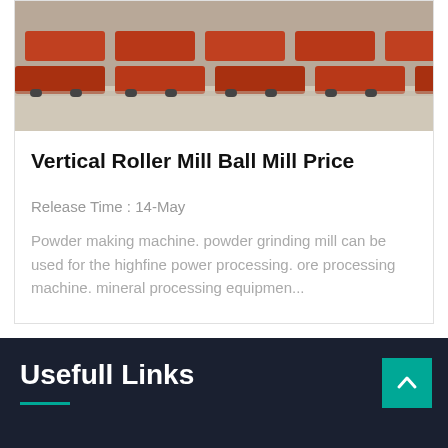[Figure (photo): Warehouse or industrial facility showing rows of orange/red equipment or machinery on a concrete floor, viewed from above.]
Vertical Roller Mill Ball Mill Price
Release Time : 14-May
Powder making machine. powder grinding mill can be used for the highfine power processing. ore processing machine. mineral processing equipmen...
Usefull Links
Leave Message
Chat Online